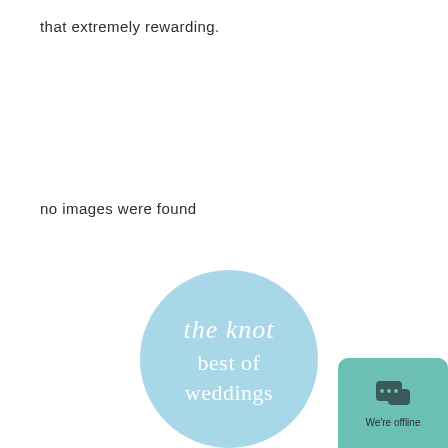that extremely rewarding.
no images were found
[Figure (logo): The Knot Best of Weddings badge — a light blue circle with white script text reading 'the knot best of weddings']
[Figure (screenshot): Chat widget button in teal/green color with chat bubble icon and text 'We're offline']